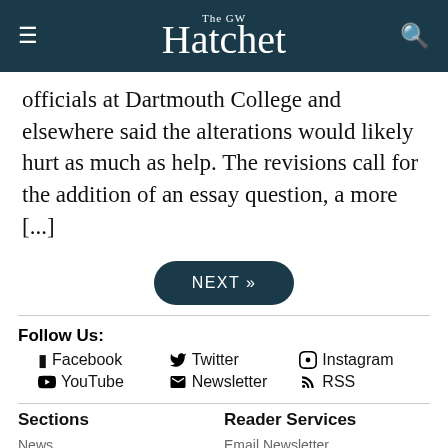The GW Hatchet
officials at Dartmouth College and elsewhere said the alterations would likely hurt as much as help. The revisions call for the addition of an essay question, a more [...]
NEXT »
Follow Us: Facebook  Twitter  Instagram  YouTube  Newsletter  RSS
Sections
News
Opinions
Culture
Sports
Reader Services
Email Newsletter
Browse Archives
Photo Sales